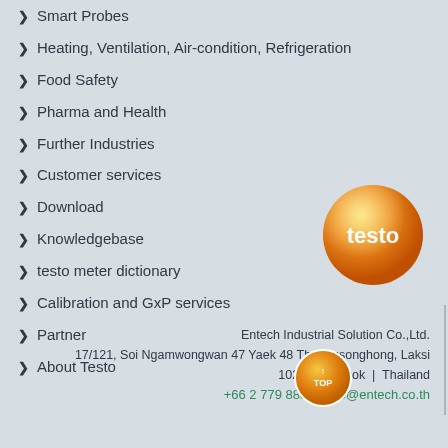Smart Probes
Heating, Ventilation, Air-condition, Refrigeration
Food Safety
Pharma and Health
Further Industries
Customer services
Download
Knowledgebase
testo meter dictionary
Calibration and GxP services
Partner
About Testo
[Figure (logo): Testo orange sphere logo with white text 'testo']
Entech Industrial Solution Co.,Ltd.
17/121, Soi Ngamwongwan 47 Yaek 48 Thoongsonghong, Laksi
10210 Bangkok | Thailand
+66 2 779 8888 | info@entech.co.th